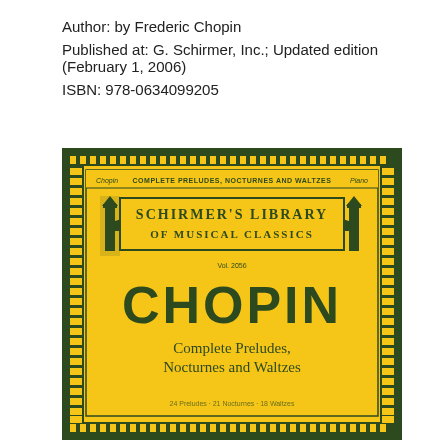Author: by Frederic Chopin
Published at: G. Schirmer, Inc.; Updated edition (February 1, 2006)
ISBN: 978-0634099205
[Figure (illustration): Book cover of Chopin Complete Preludes, Nocturnes and Waltzes published by Schirmer's Library of Musical Classics, Vol. 2056. Yellow cover with dark green decorative border featuring vine/leaf patterns, ornamental torch decorations flanking a central banner reading SCHIRMER'S LIBRARY OF MUSICAL CLASSICS. Large bold CHOPIN text followed by subtitle Complete Preludes, Nocturnes and Waltzes.]